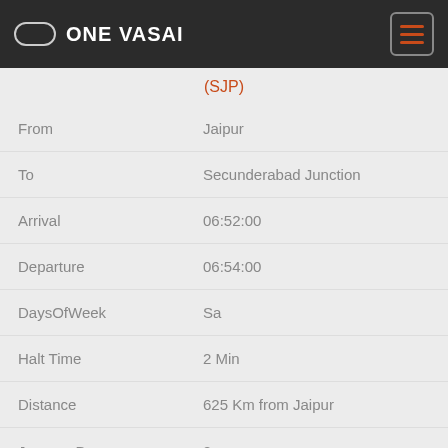ONE VASAI
| Field | Value |
| --- | --- |
|  | (SJP) |
| From | Jaipur |
| To | Secunderabad Junction |
| Arrival | 06:52:00 |
| Departure | 06:54:00 |
| DaysOfWeek | Sa |
| Halt Time | 2 Min |
| Distance | 625 Km from Jaipur |
| Journey Day | 2 |
| Field | Value |
| --- | --- |
| No | 11472 |
| Name | jabalpur - Indore Express (SJP) |
| From | Jabalpur |